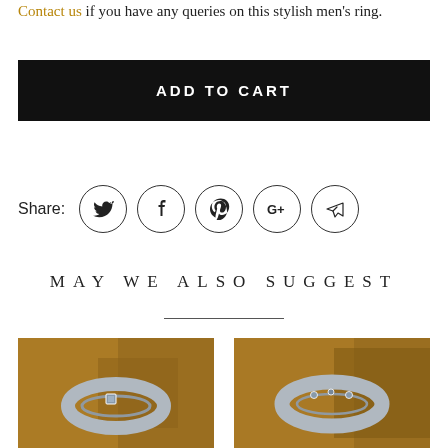Contact us if you have any queries on this stylish men's ring.
ADD TO CART
[Figure (other): Social share icons row: Twitter, Facebook, Pinterest, Google+, direct message (paper plane). Each icon is a circle outline with the respective symbol inside.]
MAY WE ALSO SUGGEST
[Figure (photo): Photo of a silver men's ring with a small square inset stone, photographed on a rustic brown/gold surface.]
[Figure (photo): Photo of a silver men's ring with small circular dot accents, photographed on a rustic brown/gold surface.]